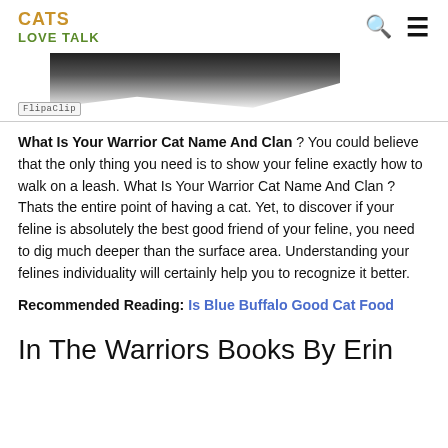CATS LOVE TALK
[Figure (photo): Partial image of a cat with black fur, bottom portion visible, with FlipaClip watermark label at bottom left]
What Is Your Warrior Cat Name And Clan ? You could believe that the only thing you need is to show your feline exactly how to walk on a leash. What Is Your Warrior Cat Name And Clan ? Thats the entire point of having a cat. Yet, to discover if your feline is absolutely the best good friend of your feline, you need to dig much deeper than the surface area. Understanding your felines individuality will certainly help you to recognize it better.
Recommended Reading: Is Blue Buffalo Good Cat Food
In The Warriors Books By Erin